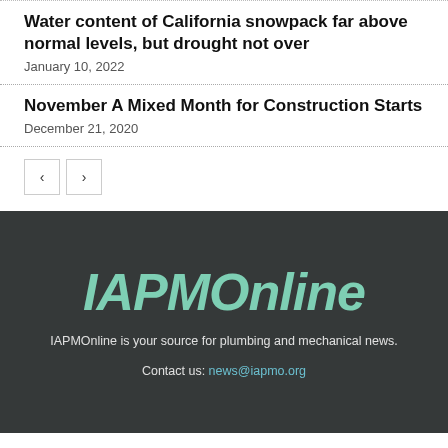Water content of California snowpack far above normal levels, but drought not over
January 10, 2022
November A Mixed Month for Construction Starts
December 21, 2020
[Figure (logo): IAPMOnline logo in teal italic bold text on dark background]
IAPMOnline is your source for plumbing and mechanical news.
Contact us: news@iapmo.org